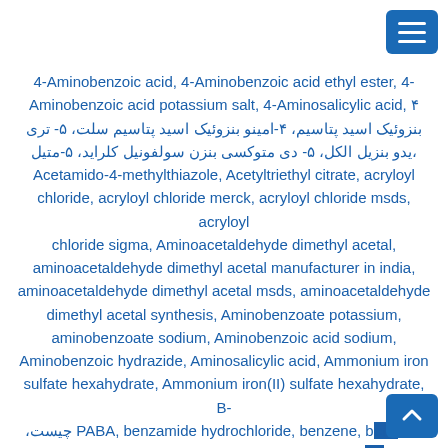4-Aminobenzoic acid, 4-Aminobenzoic acid ethyl ester, 4-Aminobenzoic acid potassium salt, 4-Aminosalicylic acid, ۴ امینو-بنزوئیک اسید پتاسیم، ۴-امینو بنزوئیک اسید پتاسیم سلت، ۵- تری یدو بنزیل الکل، ۵- دی متوکسی بنزن سولفونیل کلراید، ۵-متیل، Acetamido-4-methylthiazole, Acetyltriethyl citrate, acryloyl chloride, acryloyl chloride merck, acryloyl chloride msds, acryloyl chloride sigma, Aminoacetaldehyde dimethyl acetal, aminoacetaldehyde dimethyl acetal manufacturer in india, aminoacetaldehyde dimethyl acetal msds, aminoacetaldehyde dimethyl acetal synthesis, Aminobenzoate potassium, aminobenzoate sodium, Aminobenzoic acid sodium, Aminobenzoic hydrazide, Aminosalicylic acid, Ammonium iron sulfate hexahydrate, Ammonium iron(II) sulfate hexahydrate, B- چیست، PABA, benzamide hydrochloride, benzene, benzene, benzene-1 3 5-tricarboxylic acid, Benzenesulfonyl chloride, Benzocaine, Beta Carotene, Betaine aldehyde chloride, Betaine